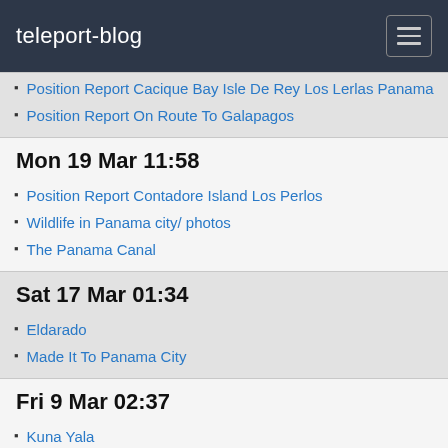teleport-blog
Position Report Cacique Bay Isle De Rey Los Lerlas Panama
Position Report On Route To Galapagos
Mon 19 Mar 11:58
Position Report Contadore Island Los Perlos
Wildlife in Panama city/ photos
The Panama Canal
Sat 17 Mar 01:34
Eldarado
Made It To Panama City
Fri 9 Mar 02:37
Kuna Yala
No turning back!
Waiting at Shelter Bay To Transit the Canal on 9 March
Panama Photos
San Blas to Panama/ photos
Wed 7 Mar 03:02
even more photos Kuna Yala
even more 2 Kuna Yala